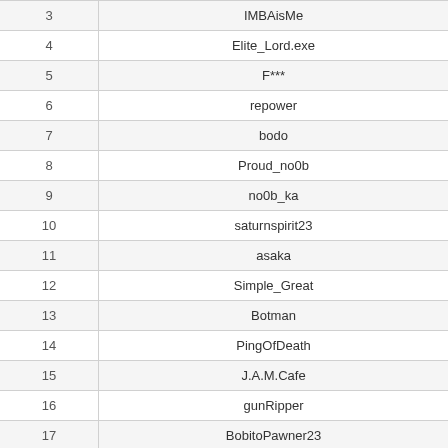| # | Name |
| --- | --- |
| 3 | IMBAisMe |
| 4 | Elite_Lord.exe |
| 5 | F*** |
| 6 | repower |
| 7 | bodo |
| 8 | Proud_no0b |
| 9 | no0b_ka |
| 10 | saturnspirit23 |
| 11 | asaka |
| 12 | Simple_Great |
| 13 | Botman |
| 14 | PingOfDeath |
| 15 | J.A.M.Cafe |
| 16 | gunRipper |
| 17 | BobitoPawner23 |
| 18 | *_DENMAR_* |
| 19 | saturnspirit23 |
| 20 | wOrldwhAckEr |
| 21 | IK_ramhost |
| 22 | -gear |
| 23 | Puiu |